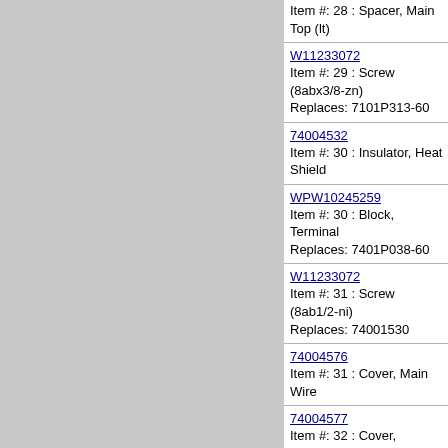[Figure (photo): Gray panel/diagram area on the left side of the page]
Item #: 28 : Spacer, Main Top (lt)
W11233072
Item #: 29 : Screw (8abx3/8-zn)
Replaces: 7101P313-60
74004532
Item #: 30 : Insulator, Heat Shield
WPW10245259
Item #: 30 : Block, Terminal
Replaces: 7401P038-60
W11233072
Item #: 31 : Screw (8ab1/2-ni)
Replaces: 74001530
74004576
Item #: 31 : Cover, Main Wire
74004577
Item #: 32 : Cover, Terminal
74005499
Item #: 33 : Support, Oven (rear)
74005500
Item #: 33 : Support, Oven (lwr)
3823F015-51
Item #: 34 : Spacer, Side Panel (lon)
Replaces: 74007427